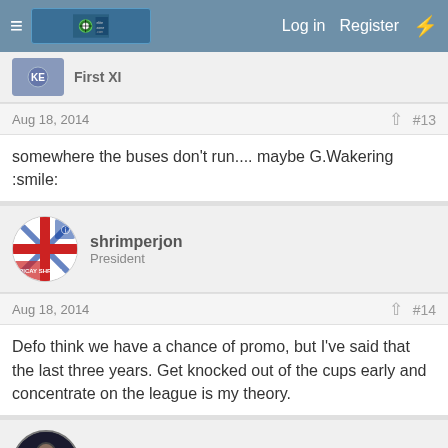Navigation bar with menu icon, logo, Log in, Register links
First XI
Aug 18, 2014  #13
somewhere the buses don't run.... maybe G.Wakering :smile:
shrimperjon
President
Aug 18, 2014  #14
Defo think we have a chance of promo, but I've said that the last three years. Get knocked out of the cups early and concentrate on the league is my theory.
RHB
Super Moderator Staff member
Aug 19, 2014  #15
We are all full of hope and aspiration, but it is still way too early to call this. The squad definitely is stronger than last year, a consensus we